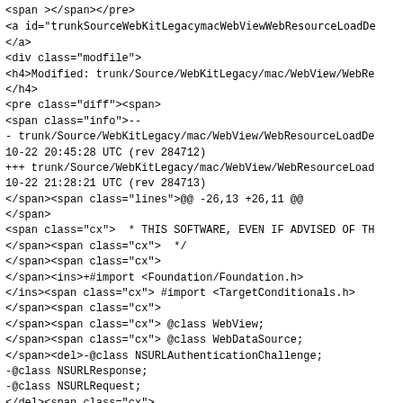HTML source code showing a diff/patch view with XML markup including span, a, div, h4, pre, ins, del elements containing WebKit source code changes